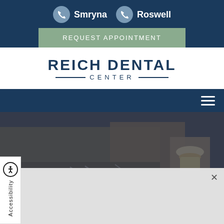Smryna   Roswell
REQUEST APPOINTMENT
REICH DENTAL CENTER
[Figure (screenshot): Website screenshot of Reich Dental Center showing navigation header with phone locations (Smryna, Roswell), Request Appointment button, logo, hamburger menu, and a photo of a building with stairs and railings. An accessibility widget tab is visible on the lower left and a gray panel overlay at the bottom with a close button.]
Accessibility